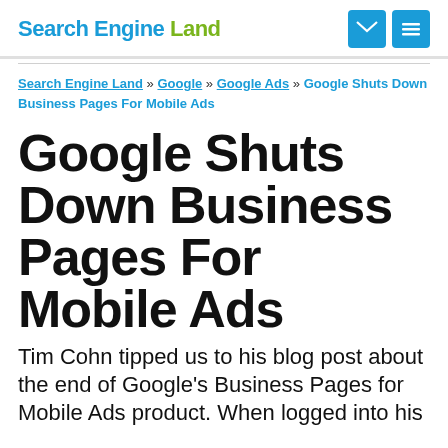Search Engine Land
Search Engine Land » Google » Google Ads » Google Shuts Down Business Pages For Mobile Ads
Google Shuts Down Business Pages For Mobile Ads
Tim Cohn tipped us to his blog post about the end of Google's Business Pages for Mobile Ads product. When logged into his